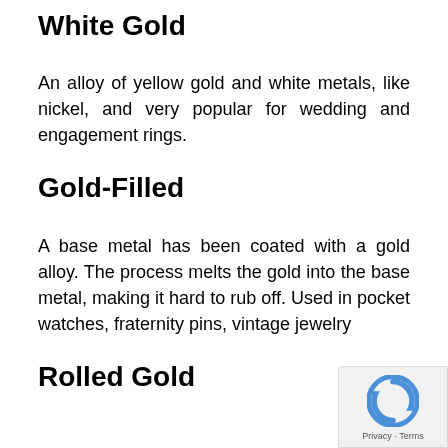White Gold
An alloy of yellow gold and white metals, like nickel, and very popular for wedding and engagement rings.
Gold-Filled
A base metal has been coated with a gold alloy. The process melts the gold into the base metal, making it hard to rub off. Used in pocket watches, fraternity pins, vintage jewelry
Rolled Gold
[Figure (logo): reCAPTCHA badge with Privacy and Terms text]